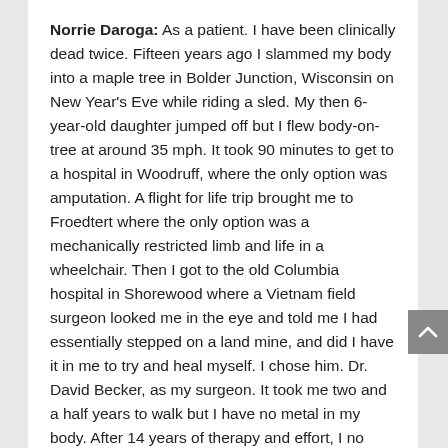Norrie Daroga: As a patient. I have been clinically dead twice. Fifteen years ago I slammed my body into a maple tree in Bolder Junction, Wisconsin on New Year's Eve while riding a sled. My then 6-year-old daughter jumped off but I flew body-on-tree at around 35 mph. It took 90 minutes to get to a hospital in Woodruff, where the only option was amputation. A flight for life trip brought me to Froedtert where the only option was a mechanically restricted limb and life in a wheelchair. Then I got to the old Columbia hospital in Shorewood where a Vietnam field surgeon looked me in the eye and told me I had essentially stepped on a land mine, and did I have it in me to try and heal myself. I chose him. Dr. David Becker, as my surgeon. It took me two and a half years to walk but I have no metal in my body. After 14 years of therapy and effort, I no